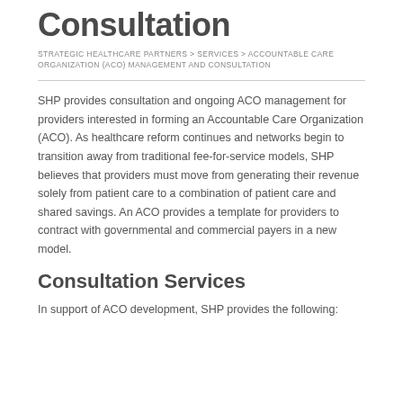Consultation
STRATEGIC HEALTHCARE PARTNERS > SERVICES > ACCOUNTABLE CARE ORGANIZATION (ACO) MANAGEMENT AND CONSULTATION
SHP provides consultation and ongoing ACO management for providers interested in forming an Accountable Care Organization (ACO). As healthcare reform continues and networks begin to transition away from traditional fee-for-service models, SHP believes that providers must move from generating their revenue solely from patient care to a combination of patient care and shared savings. An ACO provides a template for providers to contract with governmental and commercial payers in a new model.
Consultation Services
In support of ACO development, SHP provides the following: